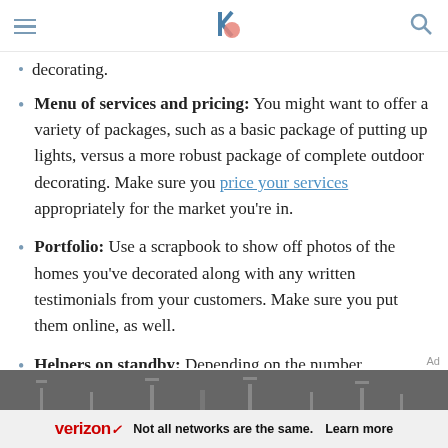Navigation header with hamburger menu, logo, and search icon
decorating.
Menu of services and pricing: You might want to offer a variety of packages, such as a basic package of putting up lights, versus a more robust package of complete outdoor decorating. Make sure you price your services appropriately for the market you're in.
Portfolio: Use a scrapbook to show off photos of the homes you've decorated along with any written testimonials from your customers. Make sure you put them online, as well.
Helpers on standby: Depending on the number
[Figure (screenshot): Verizon advertisement banner: dark background with light silhouettes, text reads 'Not all networks are the same. Learn more']